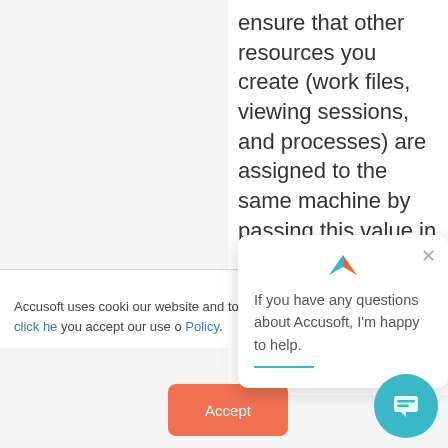ensure that other resources you create (work files, viewing sessions, and processes) are assigned to the same machine by passing this value in an Accusoft-Affinity-Token request header when submitting the POST
Accusoft uses cooki our website and to i includes personalizi learn more, click he you accept our use o Policy.
If you have any questions about Accusoft, I'm happy to help.